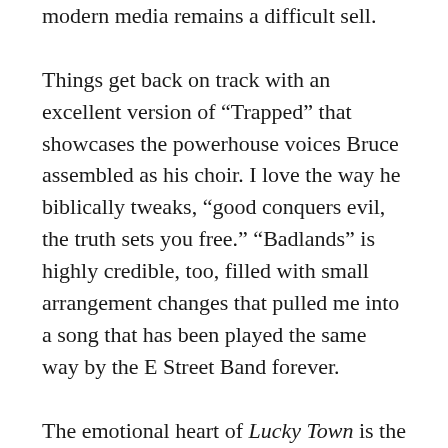modern media remains a difficult sell. Things get back on track with an excellent version of “Trapped” that showcases the powerhouse voices Bruce assembled as his choir. I love the way he biblically tweaks, “good conquers evil, the truth sets you free.” “Badlands” is highly credible, too, filled with small arrangement changes that pulled me into a song that has been played the same way by the E Street Band forever.
The emotional heart of Lucky Town is the life-affirming “Living Proof,” written by Springsteen after the birth of his first son. Boston gets an excellent performance, vocal nuances reinforcing that Springsteen is in the moment